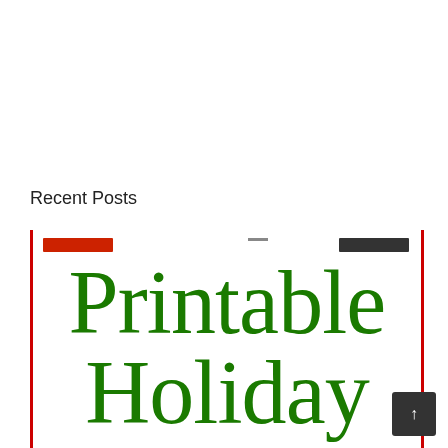Recent Posts
[Figure (illustration): A cropped preview image showing the text 'Printable Holiday' in large green serif font on a white background, with red vertical border lines on the left and right sides, and small red and dark decorative bars at the top.]